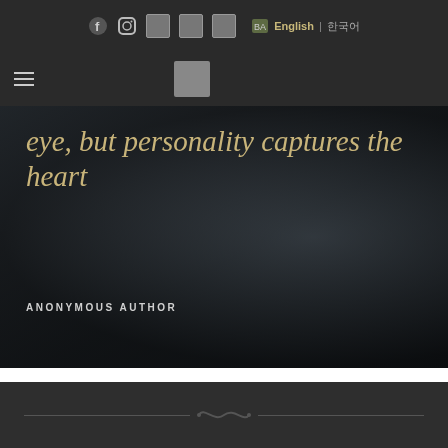Navigation bar with social icons (Facebook, Instagram, and image icons) and language selector: English | 한국어
Hamburger menu and logo
[Figure (photo): Dark moody hero image of a person in a dark suit/jacket, overlaid with italic serif quote text in tan/gold color and author attribution below]
eye, but personality captures the heart
ANONYMOUS AUTHOR
Footer with horizontal divider lines and decorative ornament/flourish in center